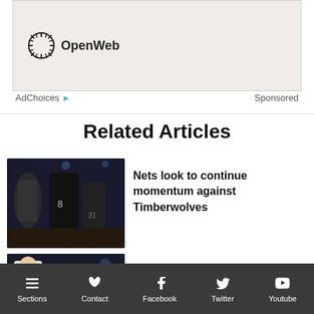[Figure (logo): OpenWeb logo in a light beige ad banner]
AdChoices ▷   Sponsored
Related Articles
[Figure (photo): Brooklyn Nets basketball players on court, #8 jersey visible]
Nets look to continue momentum against Timberwolves
[Figure (photo): Basketball coach and player on the sidelines]
Matchups, Questions, Predictions:
Sections  Contact  Facebook  Twitter  Youtube